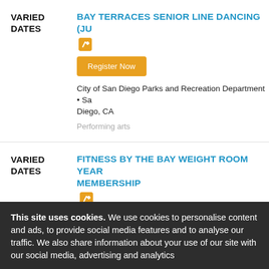VARIED DATES
BAY TERRACES SENIOR LINE DANCING (JU...
Register Now
City of San Diego Parks and Recreation Department • Sa Diego, CA
Performing arts
VARIED DATES
FITNESS BY THE BAY WEIGHT ROOM YEAR MEMBERSHIP
Register Now
City of San Diego Parks and Recreation Department • Sa Diego, CA
Fitness
This site uses cookies. We use cookies to personalise content and ads, to provide social media features and to analyse our traffic. We also share information about your use of our site with our social media, advertising and analytics